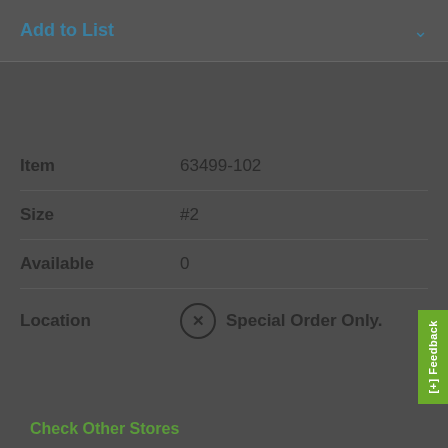Add to List
| Field | Value |
| --- | --- |
| Item | 63499-102 |
| Size | #2 |
| Available | 0 |
| Location | ⊗ Special Order Only. |
This item is not stocked nearby. If you need this item now, you can Check In Stock items at Other Stores in your expanded area, or contact your branch at (770)-442-8881 to place a special order.
Check Other Stores